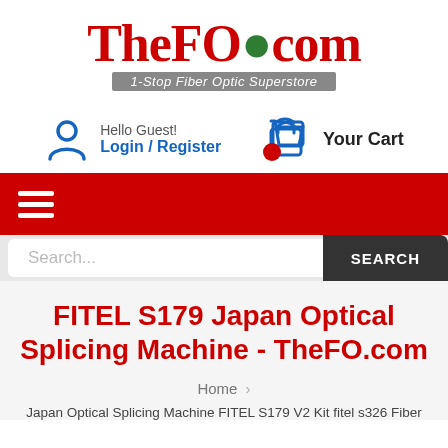[Figure (logo): TheFO.com logo — red serif text 'TheFO.com' with a green dot over the 'o', gray italic tagline '1-Stop Fiber Optic Superstore']
Hello Guest!
Login / Register
Your Cart
[Figure (infographic): Red navigation bar with white hamburger menu icon (three horizontal lines)]
Search...
FITEL S179 Japan Optical Splicing Machine - TheFO.com
Home >
Japan Optical Splicing Machine FITEL S179 V2 Kit fitel s326 Fiber